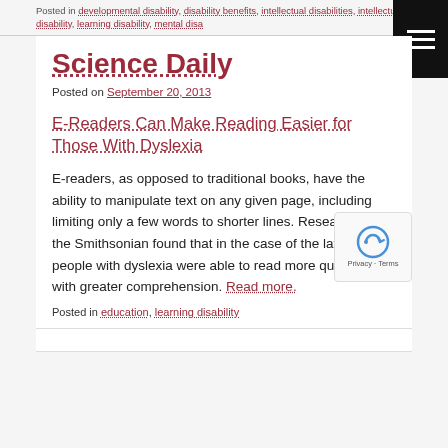Posted in developmental disability, disability benefits, intellectual disabilities, intellectual disability, learning disability, mental disability
Science Daily
Posted on September 20, 2013
E-Readers Can Make Reading Easier for Those With Dyslexia
E-readers, as opposed to traditional books, have the ability to manipulate text on any given page, including limiting only a few words to shorter lines. Researchers at the Smithsonian found that in the case of the latter, people with dyslexia were able to read more quickly and with greater comprehension. Read more.
Posted in education, learning disability